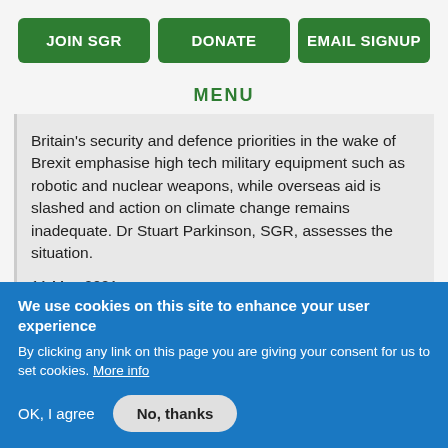JOIN SGR | DONATE | EMAIL SIGNUP
MENU
Britain's security and defence priorities in the wake of Brexit emphasise high tech military equipment such as robotic and nuclear weapons, while overseas aid is slashed and action on climate change remains inadequate. Dr Stuart Parkinson, SGR, assesses the situation.

11 May 2021
We use cookies on this site to enhance your user experience
By clicking any link on this page you are giving your consent for us to set cookies. More info
OK, I agree  No, thanks